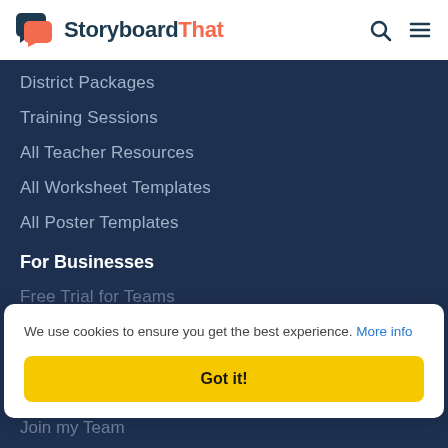StoryboardThat
District Packages
Training Sessions
All Teacher Resources
All Worksheet Templates
All Poster Templates
For Businesses
Free Trial for Teams
We use cookies to ensure you get the best experience. More info
Got it!
Join my Team